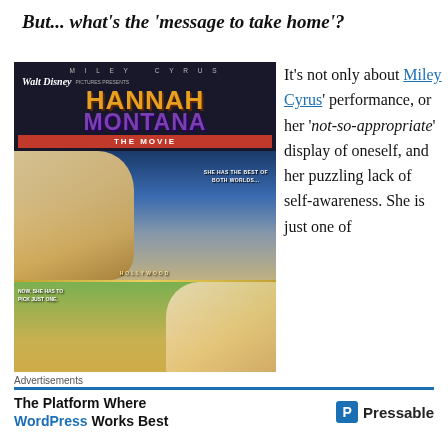But... what's the 'message to take home'?
[Figure (photo): Hannah Montana The Movie promotional poster (Walt Disney Pictures, Miley Cyrus), showing two-panel movie poster with actress in blonde wig above and brunette below, with Hollywood backdrop.]
It's not only about Miley Cyrus' performance, or her 'not-so-appropriate' display of oneself, and her puzzling lack of self-awareness. She is just one of
Advertisements
The Platform Where WordPress Works Best
[Figure (logo): Pressable logo with blue P icon]